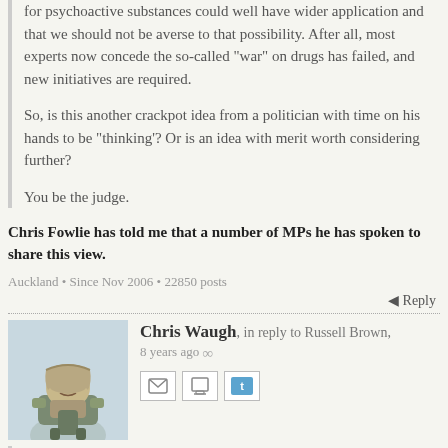for psychoactive substances could well have wider application and that we should not be averse to that possibility. After all, most experts now concede the so-called “war” on drugs has failed, and new initiatives are required.
So, is this another crackpot idea from a politician with time on his hands to be “thinking’? Or is an idea with merit worth considering further?
You be the judge.
Chris Fowlie has told me that a number of MPs he has spoken to share this view.
Auckland • Since Nov 2006 • 22850 posts
Reply
Chris Waugh, in reply to Russell Brown, 8 years ago
Now, here is where I have been thinking. Although the Psychoactive Substances Act was intended to deal with that issue only, and not to have wider application, it does occur to me that